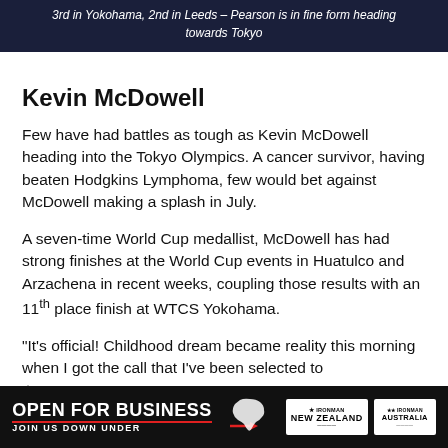3rd in Yokohama, 2nd in Leeds – Pearson is in fine form heading towards Tokyo
Kevin McDowell
Few have had battles as tough as Kevin McDowell heading into the Tokyo Olympics. A cancer survivor, having beaten Hodgkins Lymphoma, few would bet against McDowell making a splash in July.
A seven-time World Cup medallist, McDowell has had strong finishes at the World Cup events in Huatulco and Arzachena in recent weeks, coupling those results with an 11th place finish at WTCS Yokohama.
“It’s official! Childhood dream became reality this morning when I got the call that I’ve been selected to the U... m accu...
[Figure (other): Advertisement banner: OPEN FOR BUSINESS / JOIN US DOWN UNDER with Australia map silhouette and IRONMAN New Zealand / IRONMAN logos]